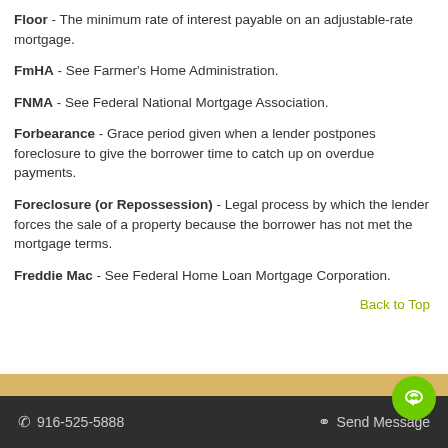Floor - The minimum rate of interest payable on an adjustable-rate mortgage.
FmHA - See Farmer's Home Administration.
FNMA - See Federal National Mortgage Association.
Forbearance - Grace period given when a lender postpones foreclosure to give the borrower time to catch up on overdue payments.
Foreclosure (or Repossession) - Legal process by which the lender forces the sale of a property because the borrower has not met the mortgage terms.
Freddie Mac - See Federal Home Loan Mortgage Corporation.
Back to Top
916-525-5888   Send Message